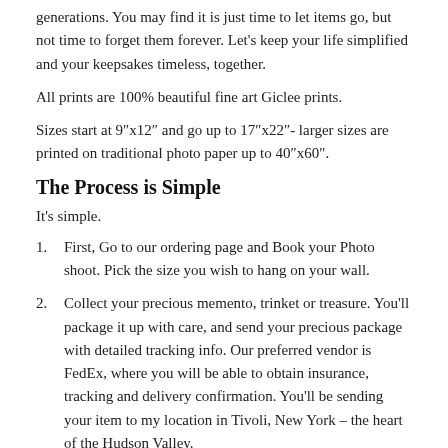generations. You may find it is just time to let items go, but not time to forget them forever. Let's keep your life simplified and your keepsakes timeless, together.
All prints are 100% beautiful fine art Giclee prints.
Sizes start at 9"x12" and go up to 17"x22"- larger sizes are printed on traditional photo paper up to 40"x60".
The Process is Simple
It's simple.
First, Go to our ordering page and Book your Photo shoot. Pick the size you wish to hang on your wall.
Collect your precious memento, trinket or treasure. You'll package it up with care, and send your precious package with detailed tracking info. Our preferred vendor is FedEx, where you will be able to obtain insurance, tracking and delivery confirmation. You'll be sending your item to my location in Tivoli, New York – the heart of the Hudson Valley.